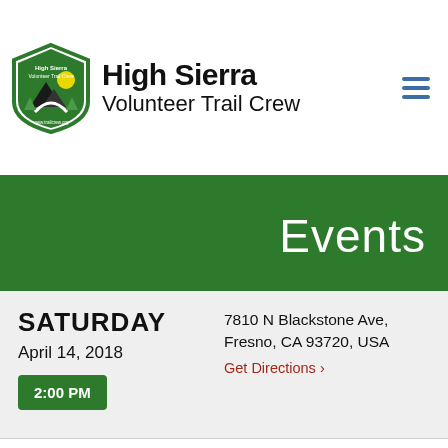High Sierra Volunteer Trail Crew
Events
SATURDAY
April 14, 2018
2:00 PM
7810 N Blackstone Ave, Fresno, CA 93720, USA
Get Directions ›
180414 San Joaquin River Trail Day/Overnight Trip